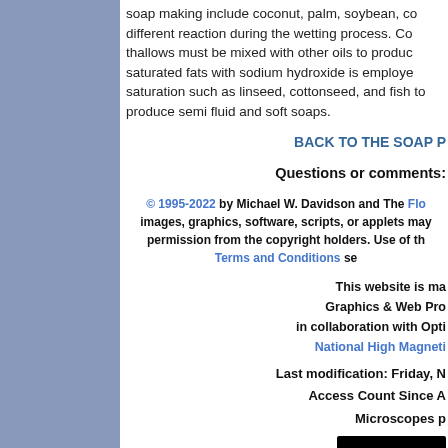soap making include coconut, palm, soybean, co different reaction during the wetting process. Co thallows must be mixed with other oils to produc saturated fats with sodium hydroxide is employe saturation such as linseed, cottonseed, and fish to produce semi fluid and soft soaps.
BACK TO THE SOAP P
Questions or comments:
© 1995-2022 by Michael W. Davidson and The Flo images, graphics, software, scripts, or applets may permission from the copyright holders. Use of th Terms and Conditions se
This website is ma Graphics & Web Pro in collaboration with Opti National High Magneti
Last modification: Friday, N
Access Count Since A
Microscopes p
[Figure (logo): Nikon logo — yellow italic bold text on black background]